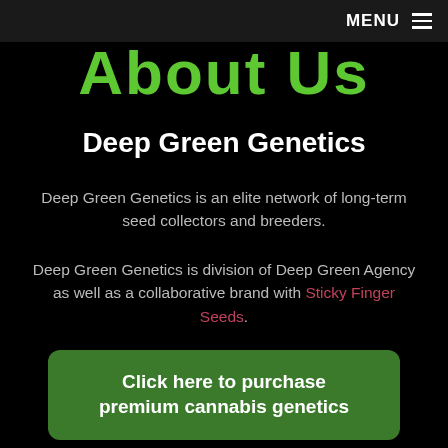MENU ≡
About Us
Deep Green Genetics
Deep Green Genetics is an elite network of long-term seed collectors and breeders.
Deep Green Genetics is division of Deep Green Agency as well as a collaborative brand with Sticky Finger Seeds.
Click here to purchase premium cannabis genetics
[Figure (photo): Partial green-tinted image visible at the bottom of the page, appears to be cannabis-related imagery]